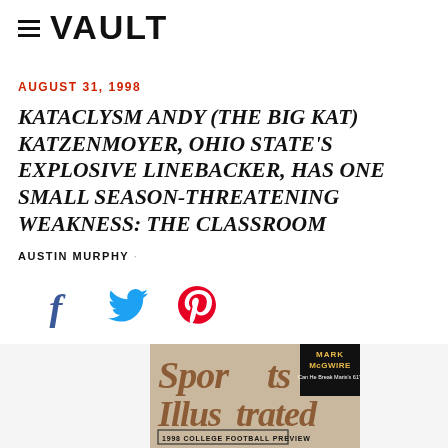VAULT
AUGUST 31, 1998
KATACLYSM ANDY (THE BIG KAT) KATZENMOYER, OHIO STATE'S EXPLOSIVE LINEBACKER, HAS ONE SMALL SEASON-THREATENING WEAKNESS: THE CLASSROOM
AUSTIN MURPHY ·
[Figure (other): Social media share icons: Facebook (f), Twitter (bird), Pinterest (P)]
[Figure (photo): Partial view of a Sports Illustrated magazine cover, 1998 College Football Preview issue, featuring Mark McGwire corner box and a player photograph]